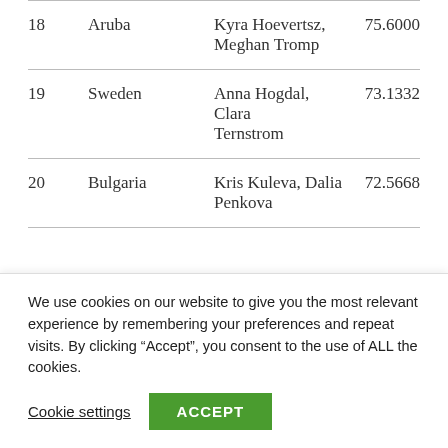| Rank | Country | Athletes | Score |
| --- | --- | --- | --- |
| 18 | Aruba | Kyra Hoevertsz, Meghan Tromp | 75.6000 |
| 19 | Sweden | Anna Hogdal, Clara Ternstrom | 73.1332 |
| 20 | Bulgaria | Kris Kuleva, Dalia Penkova | 72.5668 |
TECHNICAL MIXED DUET
We use cookies on our website to give you the most relevant experience by remembering your preferences and repeat visits. By clicking “Accept”, you consent to the use of ALL the cookies.